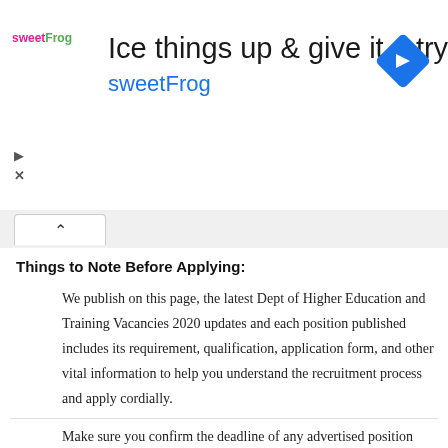[Figure (other): Advertisement banner for sweetFrog frozen yogurt. Headline: 'Ice things up & give it a try', subtext: 'sweetFrog', with sweetFrog logo on left and navigation icon on right.]
Things to Note Before Applying:
We publish on this page, the latest Dept of Higher Education and Training Vacancies 2020 updates and each position published includes its requirement, qualification, application form, and other vital information to help you understand the recruitment process and apply cordially.
Make sure you confirm the deadline of any advertised position before submitting an application.
Make sure you meet all minimum Dept of Higher Education and Training Vacancies requirements and possess any required